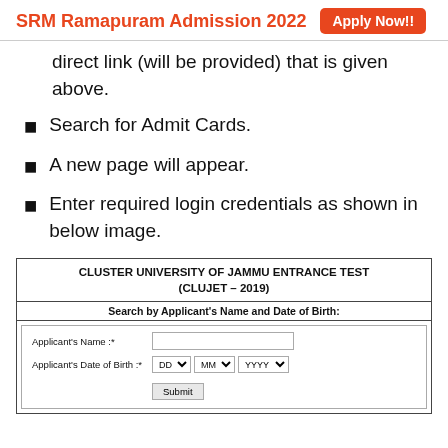SRM Ramapuram Admission 2022  Apply Now!!
direct link (will be provided) that is given above.
Search for Admit Cards.
A new page will appear.
Enter required login credentials as shown in below image.
[Figure (screenshot): CLUSTER UNIVERSITY OF JAMMU ENTRANCE TEST (CLUJET – 2019) form screenshot showing fields for Applicant's Name and Date of Birth (DD, MM, YYYY dropdowns) and a Submit button.]